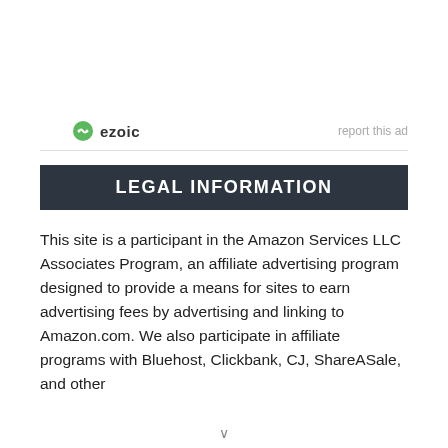[Figure (logo): Ezoic logo with green shield/leaf icon and bold text 'ezoic', alongside 'report this ad' link]
LEGAL INFORMATION
This site is a participant in the Amazon Services LLC Associates Program, an affiliate advertising program designed to provide a means for sites to earn advertising fees by advertising and linking to Amazon.com. We also participate in affiliate programs with Bluehost, Clickbank, CJ, ShareASale, and other